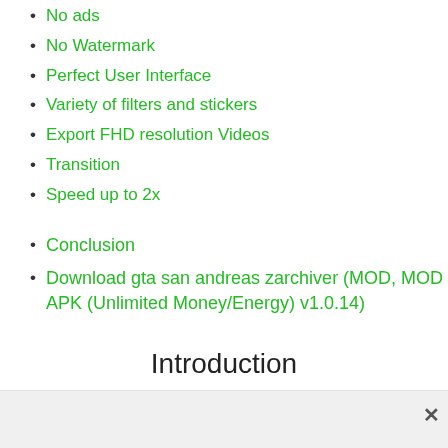No ads
No Watermark
Perfect User Interface
Variety of filters and stickers
Export FHD resolution Videos
Transition
Speed up to 2x
Conclusion
Download gta san andreas zarchiver (MOD, MOD APK (Unlimited Money/Energy) v1.0.14)
Introduction